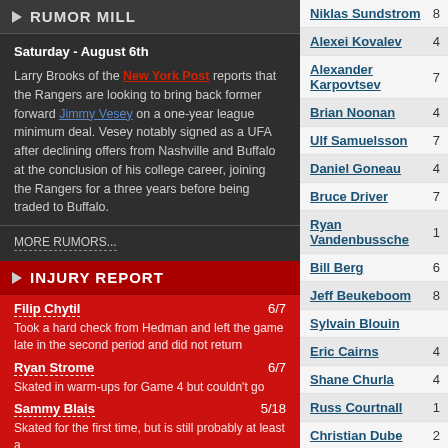RUMOR MILL
Saturday - August 6th
Larry Brooks of the New York Post reports that the Rangers are looking to bring back former forward Jimmy Vesey on a one-year league minimum deal. Vesey notably signed as a UFA after declining offers from Nashville and Buffalo at the conclusion of his college career, joining the Rangers for a three years before being traded to Buffalo.
MORE RUMORS...
INJURY REPORT
Filip Chytil 6/7
Took a hard check from Hedman and left the game late in the second period and did not return
Ryan Strome 6/7
Skated in warm-ups for Game 4 but couldn't go
Sammy Blais 5/18
Skated for the first time, but is still probably at least a
Niklas Sundstrom
Alexei Kovalev
Alexander Karpovtsev
Brian Noonan
Ulf Samuelsson
Daniel Goneau
Bruce Driver
Ryan Vandenbussche
Bill Berg
Jeff Beukeboom
Sylvain Blouin
Eric Cairns
Shane Churla
Russ Courtnall
Christian Dube
Dallas Eakins
Mike Eastwood
Chris Ferraro
Peter Ferraro
Darren Langdon
Ken Gernander
David Oliver
Glenn Healy (G)